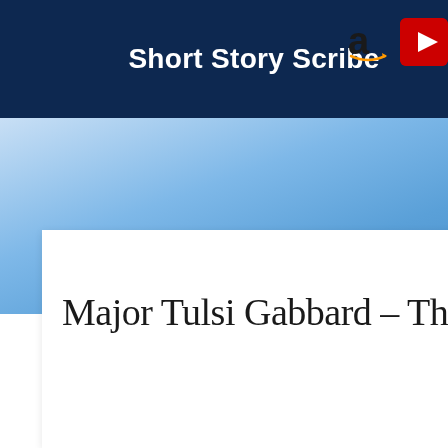Short Story Scribe
Major Tulsi Gabbard – The